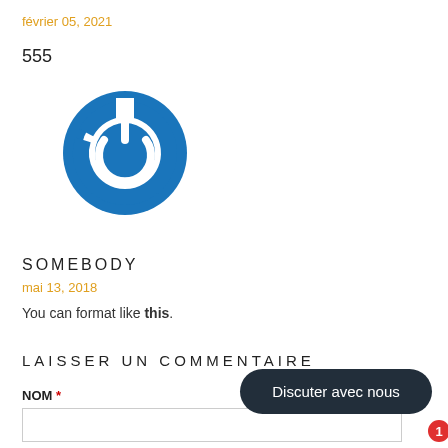février 05, 2021
555
[Figure (logo): Circular blue power button logo icon]
SOMEBODY
mai 13, 2018
You can format like this.
LAISSER UN COMMENTAIRE
NOM *
[Figure (other): Dark rounded chat bubble button with text 'Discuter avec nous' and red badge showing '1']